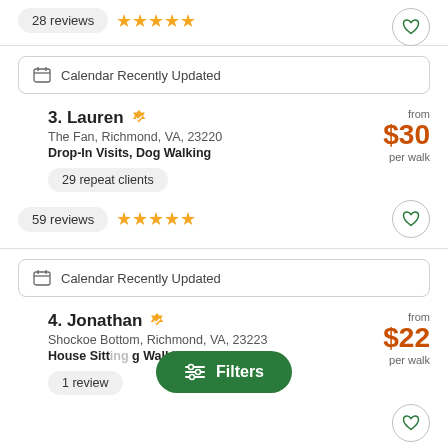28 reviews ★★★★★
Calendar Recently Updated
3. Lauren — The Fan, Richmond, VA, 23220 — Drop-In Visits, Dog Walking — from $30 per walk — 29 repeat clients — 59 reviews ★★★★★
Calendar Recently Updated
4. Jonathan — Shockoe Bottom, Richmond, VA, 23223 — House Sitting, Dog Walking — from $22 per walk — 1 review